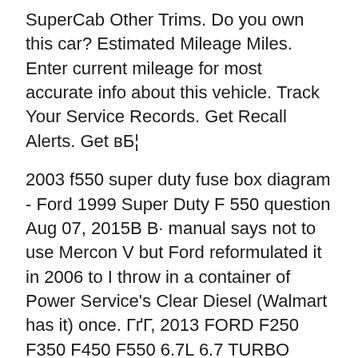SuperCab Other Trims. Do you own this car? Estimated Mileage Miles. Enter current mileage for most accurate info about this vehicle. Track Your Service Records. Get Recall Alerts. Get вБ¦
2003 f550 super duty fuse box diagram - Ford 1999 Super Duty F 550 question Aug 07, 2015В В· manual says not to use Mercon V but Ford reformulated it in 2006 to I throw in a container of Power Service's Clear Diesel (Walmart has it) once. ГґГ, 2013 FORD F250 F350 F450 F550 6.7L 6.7 TURBO DIESEL OWNERS 0:56 1996 Ford F350 Cold start 7.3 Powerstroke Diesel ГґГ, 2002 FORD F250 F350. 2003 ford f350 owners manual pdf - 2003 ford
Ford 2003 F550 Pdf User Manuals. View online or